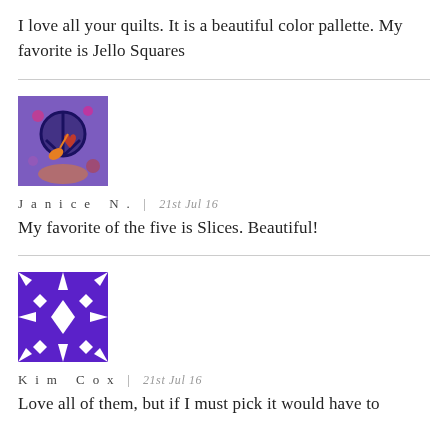I love all your quilts. It is a beautiful color pallette. My favorite is Jello Squares
[Figure (photo): Avatar image for Janice N. — colorful abstract quilt with peace sign and heart motifs on purple/orange background]
Janice N. | 21st Jul 16
My favorite of the five is Slices. Beautiful!
[Figure (photo): Avatar image for Kim Cox — purple and white geometric quilt pattern with star/diamond shapes]
Kim Cox | 21st Jul 16
Love all of them, but if I must pick it would have to